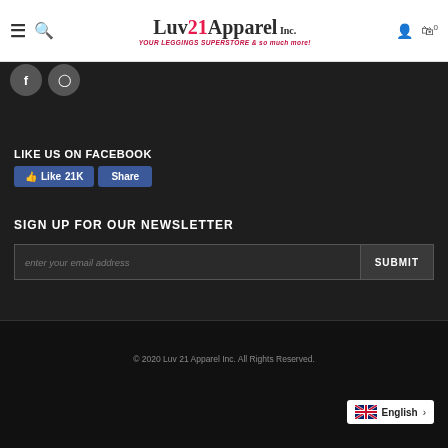[Figure (logo): Luv21Apparel Inc. logo with tagline 'YOUR LEGGINGS SUPERSTORE & so much more!']
[Figure (screenshot): Facebook and Instagram social media icon buttons in circular frames]
LIKE US ON FACEBOOK
[Figure (screenshot): Facebook Like 21K and Share buttons in blue]
SIGN UP FOR OUR NEWSLETTER
[Figure (screenshot): Email input field with placeholder 'enter your email address' and SUBMIT button]
© 2020 Luv 21 Apparel Inc. All Rights Reserved.
[Figure (screenshot): Language switcher showing UK flag and English with arrow]